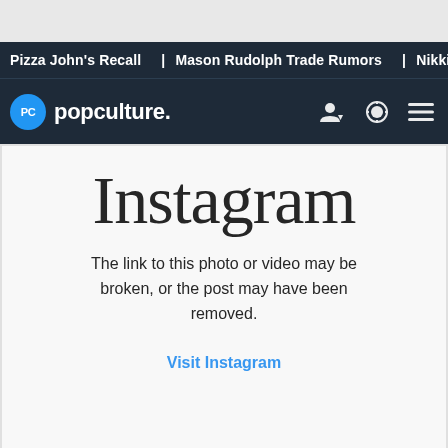Pizza John's Recall | Mason Rudolph Trade Rumors | Nikki A
popculture.
[Figure (screenshot): Instagram embedded post error: logo and message saying the link to this photo or video may be broken, or the post may have been removed. With a Visit Instagram link.]